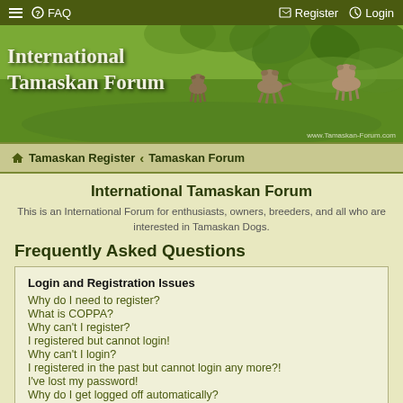≡  FAQ    Register  Login
[Figure (photo): International Tamaskan Forum banner with puppies running on grass and forum title text]
Tamaskan Register  ‹  Tamaskan Forum
International Tamaskan Forum
This is an International Forum for enthusiasts, owners, breeders, and all who are interested in Tamaskan Dogs.
Frequently Asked Questions
Login and Registration Issues
Why do I need to register?
What is COPPA?
Why can't I register?
I registered but cannot login!
Why can't I login?
I registered in the past but cannot login any more?!
I've lost my password!
Why do I get logged off automatically?
What does the "Delete all board cookies" do?